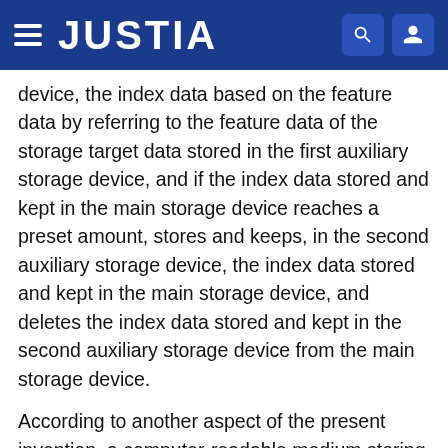JUSTIA
device, the index data based on the feature data by referring to the feature data of the storage target data stored in the first auxiliary storage device, and if the index data stored and kept in the main storage device reaches a preset amount, stores and keeps, in the second auxiliary storage device, the index data stored and kept in the main storage device, and deletes the index data stored and kept in the second auxiliary storage device from the main storage device.
According to another aspect of the present invention, a computer-readable medium storing a program comprising instructions for causing an information processing device to realize, the information processing device including a first auxiliary storage device for storing storage target data, a second auxiliary storage device having a higher data reading/writing speed than a